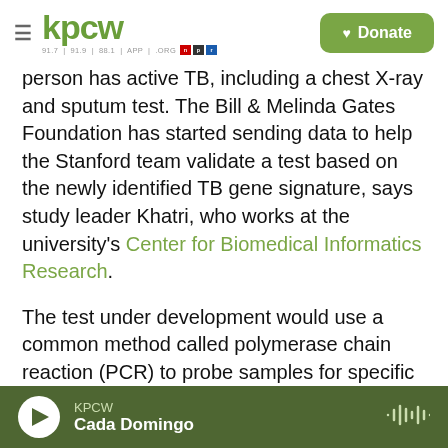KPCW — 91.7 | 91.9 | 88.1 | APP | .ORG   [Donate button]
person has active TB, including a chest X-ray and sputum test. The Bill & Melinda Gates Foundation has started sending data to help the Stanford team validate a test based on the newly identified TB gene signature, says study leader Khatri, who works at the university's Center for Biomedical Informatics Research.
The test under development would use a common method called polymerase chain reaction (PCR) to probe samples for specific messenger RNAs — single-stranded molecules that carry portions of the genes' DNA code to parts of the cell where proteins
KPCW  Cada Domingo